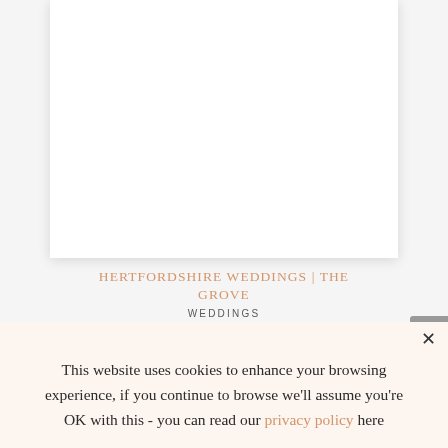[Figure (photo): White card/image area with drop shadow on light gray background]
HERTFORDSHIRE WEDDINGS | THE GROVE
WEDDINGS
This website uses cookies to enhance your browsing experience, if you continue to browse we'll assume you're OK with this - you can read our privacy policy here